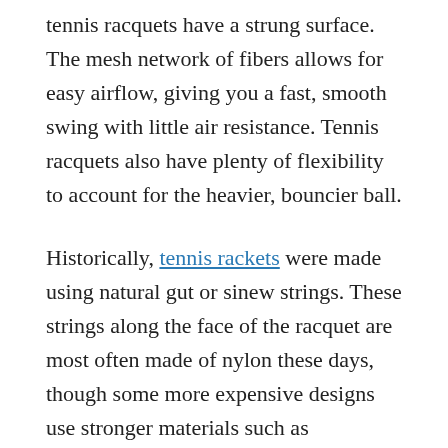tennis racquets have a strung surface. The mesh network of fibers allows for easy airflow, giving you a fast, smooth swing with little air resistance. Tennis racquets also have plenty of flexibility to account for the heavier, bouncier ball.
Historically, tennis rackets were made using natural gut or sinew strings. These strings along the face of the racquet are most often made of nylon these days, though some more expensive designs use stronger materials such as polyurethane, Vectran, or even Kevlar.
The frame of the racquet is usually made of harder, heavier material than a Pickleball paddle. It needs to remain rigid to keep the strings pulled tight. The first